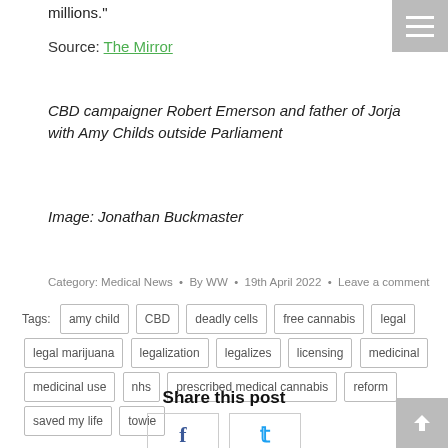millions."
Source: The Mirror
CBD campaigner Robert Emerson and father of Jorja with Amy Childs outside Parliament
Image: Jonathan Buckmaster
Category: Medical News • By WW • 19th April 2022 • Leave a comment
Tags: amy child CBD deadly cells free cannabis legal legal marijuana legalization legalizes licensing medicinal medicinal use nhs prescribed medical cannabis reform saved my life towie
Share this post